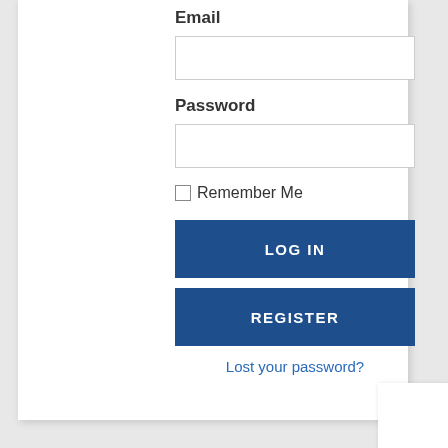Email
[Figure (screenshot): Email text input field (empty white rectangle)]
Password
[Figure (screenshot): Password text input field (empty white rectangle)]
Remember Me
LOG IN
REGISTER
Lost your password?